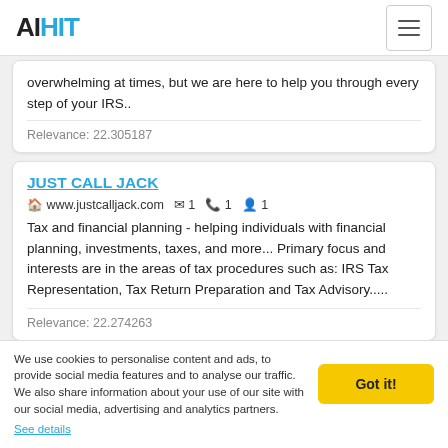AIHIT
overwhelming at times, but we are here to help you through every step of your IRS..
Relevance: 22.305187
JUST CALL JACK
www.justcalljack.com  1  1  1
Tax and financial planning - helping individuals with financial planning, investments, taxes, and more... Primary focus and interests are in the areas of tax procedures such as: IRS Tax Representation, Tax Return Preparation and Tax Advisory.....
Relevance: 22.274263
We use cookies to personalise content and ads, to provide social media features and to analyse our traffic. We also share information about your use of our site with our social media, advertising and analytics partners. See details